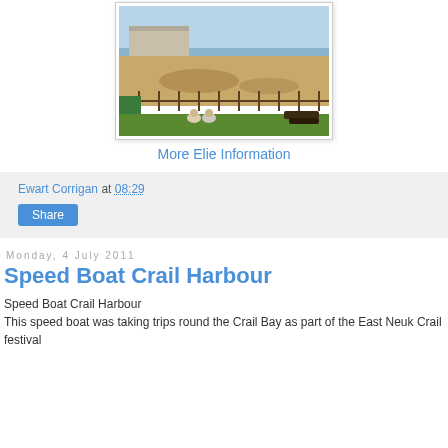[Figure (photo): Aerial or elevated view of a sandy beach with tidal flats, a fence in the foreground, two people sitting on grass, and a building visible in the background near the sea.]
More Elie Information
Ewart Corrigan at 08:29
Share
Monday, 4 July 2011
Speed Boat Crail Harbour
Speed Boat Crail Harbour
This speed boat was taking trips round the Crail Bay as part of the East Neuk Crail festival